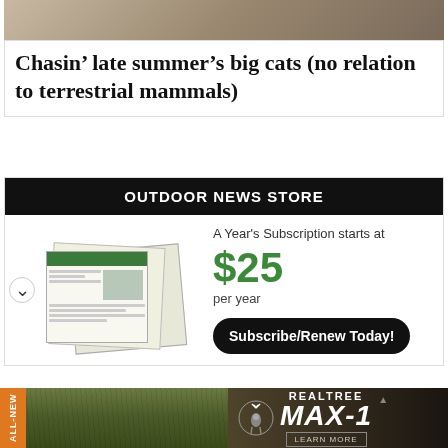[Figure (photo): Partial photo of a person, cropped at top of page]
Chasin’ late summer’s big cats (no relation to terrestrial mammals)
OUTDOOR NEWS STORE
A Year's Subscription starts at
$25
per year
Subscribe/Renew Today!
[Figure (photo): Advertisement banner: Realtree MAX-1 camouflage pattern, ALL-NEW tab on left, deer logo, REALTREE MAX-1 branding, LEARN MORE button]